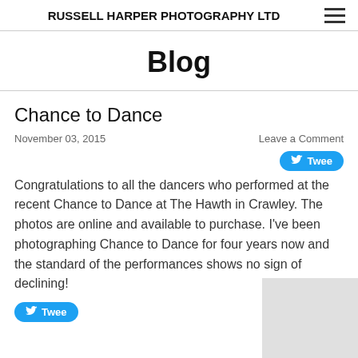RUSSELL HARPER PHOTOGRAPHY LTD
Blog
Chance to Dance
November 03, 2015
Leave a Comment
Congratulations to all the dancers who performed at the recent Chance to Dance at The Hawth in Crawley.  The photos are online and available to purchase.  I've been photographing Chance to Dance for four years now and the standard of the performances shows no sign of declining!